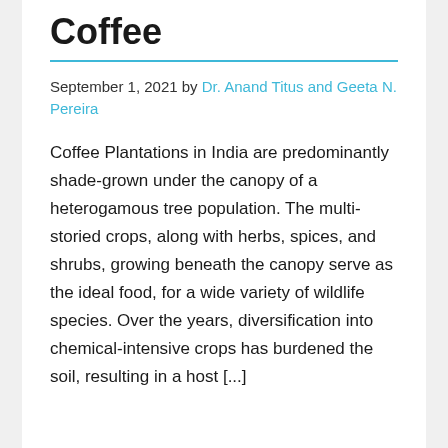Coffee
September 1, 2021 by Dr. Anand Titus and Geeta N. Pereira
Coffee Plantations in India are predominantly shade-grown under the canopy of a heterogamous tree population. The multi-storied crops, along with herbs, spices, and shrubs, growing beneath the canopy serve as the ideal food, for a wide variety of wildlife species. Over the years, diversification into chemical-intensive crops has burdened the soil, resulting in a host [...]